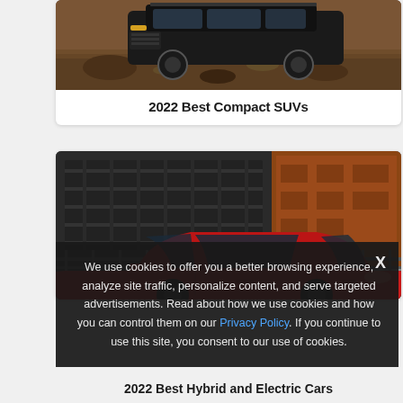[Figure (photo): Dark SUV truck parked on rocky terrain outdoors]
2022 Best Compact SUVs
[Figure (photo): Red sedan car parked on an urban street next to a brick building]
We use cookies to offer you a better browsing experience, analyze site traffic, personalize content, and serve targeted advertisements. Read about how we use cookies and how you can control them on our Privacy Policy. If you continue to use this site, you consent to our use of cookies.
2022 Best Hybrid and Electric Cars